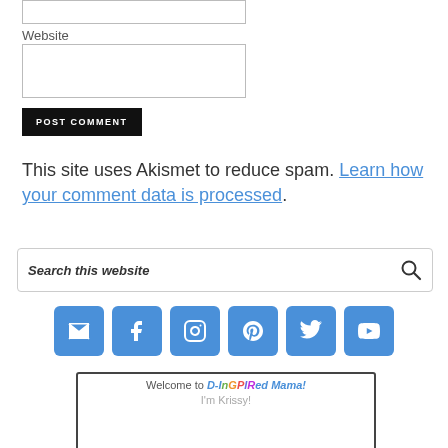[Figure (screenshot): Website input box (top, partial)]
Website
[Figure (screenshot): Website input text field]
[Figure (screenshot): POST COMMENT button, black background]
This site uses Akismet to reduce spam. Learn how your comment data is processed.
[Figure (screenshot): Search this website search bar with magnifying glass icon]
[Figure (infographic): Row of 6 social media icon buttons: email, facebook, instagram, pinterest, twitter, youtube]
[Figure (screenshot): Partial video card showing Welcome to D-INSPIRED Mama! I'm Krissy! with partial face photo]